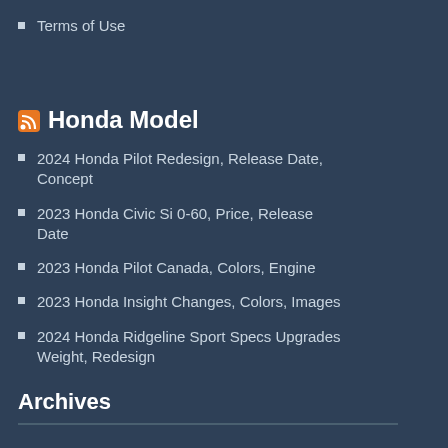Terms of Use
Honda Model
2024 Honda Pilot Redesign, Release Date, Concept
2023 Honda Civic Si 0-60, Price, Release Date
2023 Honda Pilot Canada, Colors, Engine
2023 Honda Insight Changes, Colors, Images
2024 Honda Ridgeline Sport Specs Upgrades Weight, Redesign
Archives